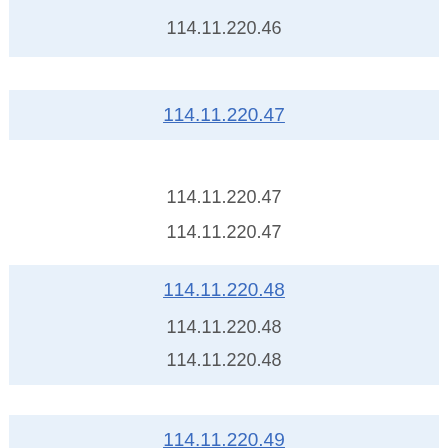114.11.220.46
114.11.220.47
114.11.220.47
114.11.220.47
114.11.220.48
114.11.220.48
114.11.220.48
114.11.220.49
114.11.220.49